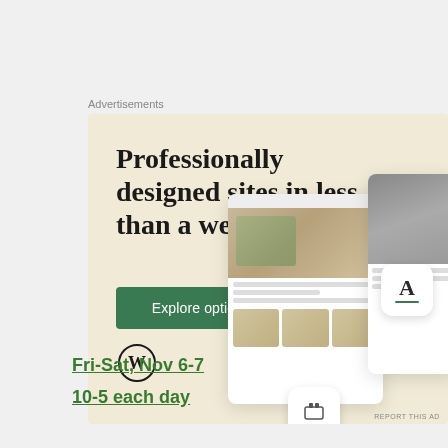Advertisements
[Figure (screenshot): WordPress advertisement showing professionally designed website mockups on a beige background. Headline: 'Professionally designed sites in less than a week'. Green 'Explore options' button. WordPress logo at bottom left. Website and app UI screenshots on the right side. Small 'REPORT THIS AD' text at bottom right.]
Fri-Sat, Nov 6-7
10-5 each day